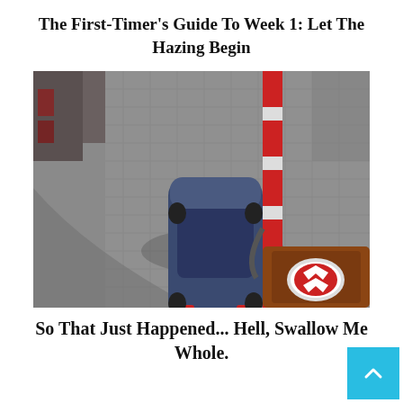The First-Timer's Guide To Week 1: Let The Hazing Begin
[Figure (photo): Overhead CCTV-style photo of a dark blue hatchback car at what appears to be a gas station or parking barrier. A red-and-white striped barrier/pump is visible on the right side of the image. The ground is cobblestone/pavement.]
So That Just Happened... Hell, Swallow Me Whole.